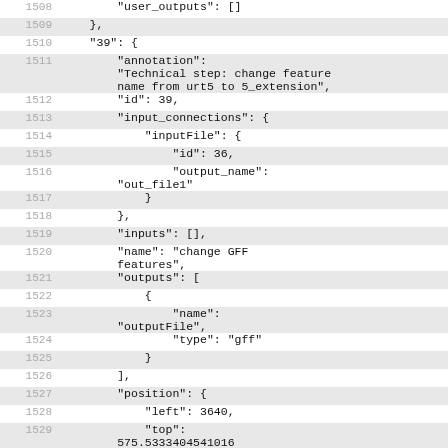Code listing lines 1508-1530 showing JSON configuration for step 39 (change GFF features)